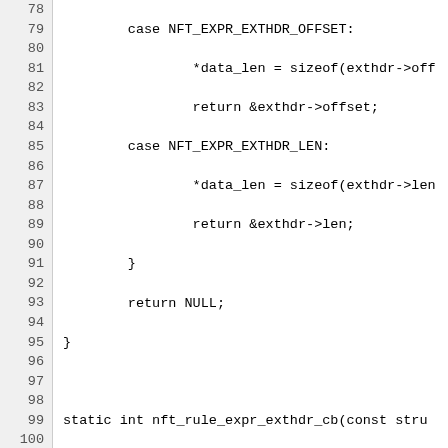[Figure (screenshot): Source code listing in C showing lines 78-107 of a function nft_rule_expr_exthdr_cb and related code, with line numbers on the left in a gray gutter.]